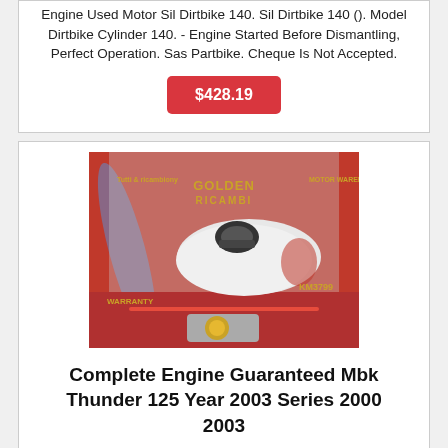Engine Used Motor Sil Dirtbike 140. Sil Dirtbike 140 (). Model Dirtbike Cylinder 140. - Engine Started Before Dismantling, Perfect Operation. Sas Partbike. Cheque Is Not Accepted.
$428.19
[Figure (photo): Photo of a motorcycle engine/part on a red background with GOLDEN RICAMBI branding logo and product reference KM3799]
Complete Engine Guaranteed Mbk Thunder 125 Year 2003 Series 2000 2003